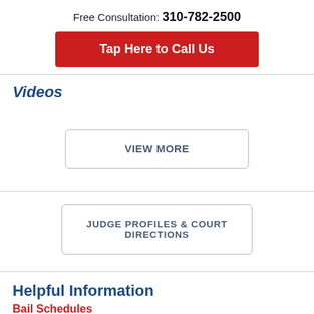Free Consultation: 310-782-2500
Tap Here to Call Us
Videos
VIEW MORE
JUDGE PROFILES & COURT DIRECTIONS
Helpful Information
Bail Schedules